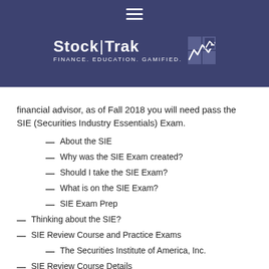[Figure (logo): Stock|Trak logo with tagline FINANCE. EDUCATION. GAMIFIED. and mountain/chart icon, on dark blue-purple header banner with hamburger menu icon at top]
financial advisor, as of Fall 2018 you will need pass the SIE (Securities Industry Essentials) Exam.
About the SIE
Why was the SIE Exam created?
Should I take the SIE Exam?
What is on the SIE Exam?
SIE Exam Prep
Thinking about the SIE?
SIE Review Course and Practice Exams
The Securities Institute of America, Inc.
SIE Review Course Details
Includes
Special Pricing for Stock-Trak Students